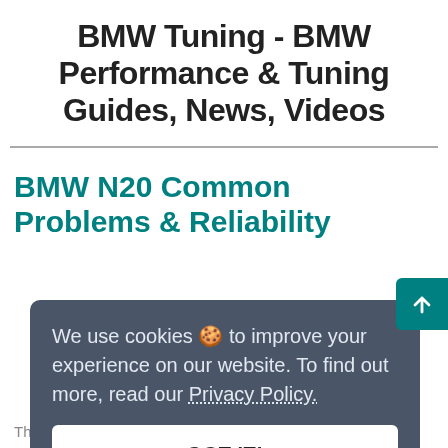BMW Tuning - BMW Performance & Tuning Guides, News, Videos
BMW N20 Common Problems & Reliability
We use cookies 🍪 to improve your experience on our website. To find out more, read our Privacy Policy.
GOT IT!
The BMW N20 is a 4-cylinder,